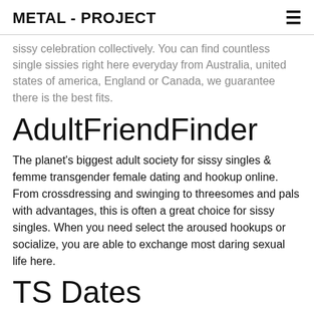METAL - PROJECT
sissy celebration collectively. You can find countless single sissies right here everyday from Australia, united states of america, England or Canada, we guarantee there is the best fits.
AdultFriendFinder
The planet's biggest adult society for sissy singles & femme transgender female dating and hookup online. From crossdressing and swinging to threesomes and pals with advantages, this is often a great choice for sissy singles. When you need select the aroused hookups or socialize, you are able to exchange most daring sexual life here.
TS Dates